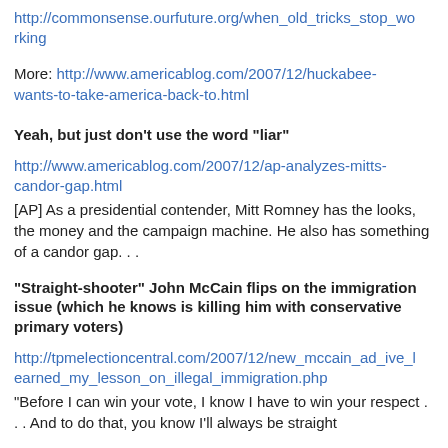http://commonsense.ourfuture.org/when_old_tricks_stop_working
More: http://www.americablog.com/2007/12/huckabee-wants-to-take-america-back-to.html
Yeah, but just don't use the word “liar”
http://www.americablog.com/2007/12/ap-analyzes-mitts-candor-gap.html
[AP] As a presidential contender, Mitt Romney has the looks, the money and the campaign machine. He also has something of a candor gap. . .
“Straight-shooter” John McCain flips on the immigration issue (which he knows is killing him with conservative primary voters)
http://tpmelectioncentral.com/2007/12/new_mccain_ad_ive_learned_my_lesson_on_illegal_immigration.php
"Before I can win your vote, I know I have to win your respect . . . And to do that, you know I'll always be straight